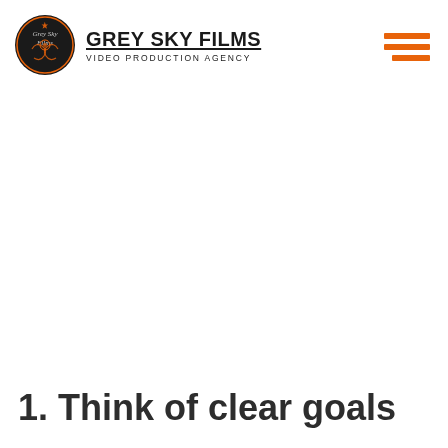GREY SKY FILMS VIDEO PRODUCTION AGENCY
1. Think of clear goals